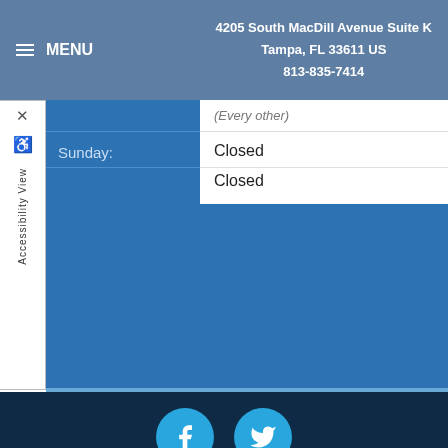≡ MENU    4205 South MacDill Avenue Suite K Tampa, FL 33611 US 813-835-7414
| (Every other) |  |
| Sunday: | Closed |
| Sunday: | Closed |
[Figure (other): Facebook and Twitter social media icon circles in light blue on dark navy footer]
COPYRIGHT © 2022 MH SUB I, LLC DBA IMATRIX.
ADMIN LOG IN